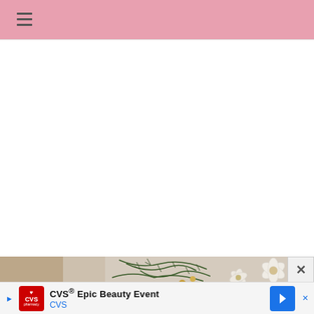Navigation menu (hamburger icon on pink header bar)
[Figure (photo): Partial view of a holiday/Christmas floral arrangement with pine branches, white poinsettia flowers, and warm decorative elements in beige/gold tones against a light background]
[Figure (screenshot): CVS Epic Beauty Event advertisement banner with CVS pharmacy red logo, text 'CVS® Epic Beauty Event' and 'CVS' in blue, with a blue navigation arrow icon on the right]